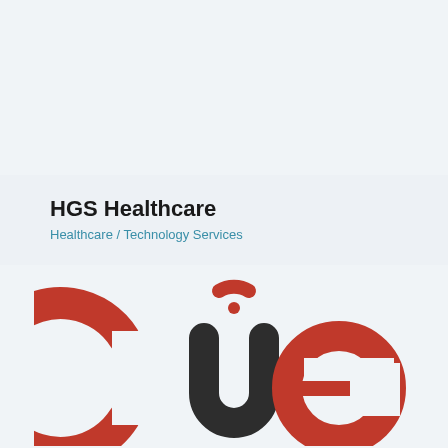HGS Healthcare
Healthcare / Technology Services
[Figure (logo): CUE logo — the letters 'c', 'u', 'e' in large type; 'c' and 'e' in dark red/rust color, 'u' in dark charcoal/black, with a red WiFi/arc symbol above the 'u']